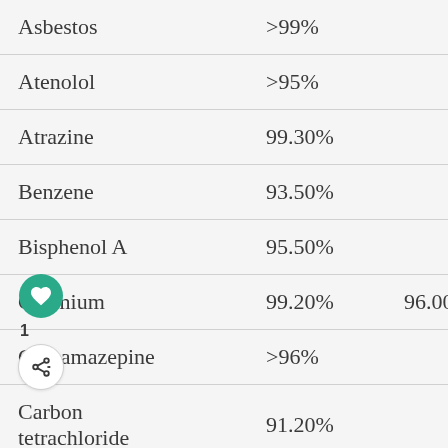| Contaminant | Col2 | Col3 | Col4 |
| --- | --- | --- | --- |
| Asbestos | >99% |  | >99.99% |
| Atenolol | >95% |  | >99.9% |
| Atrazine | 99.30% |  | >99.8% |
| Benzene | 93.50% |  | >99.8% |
| Bisphenol A | 95.50% |  | >99.9% |
| Cadmium | 99.20% | 96.00% | 97.0% |
| Carbamazepine | >96% |  | >99.9% |
| Carbon tetrachloride | 91.20% |  | >99.8% |
| Chlorine | 97.40% | 95.00% | >99.5% |